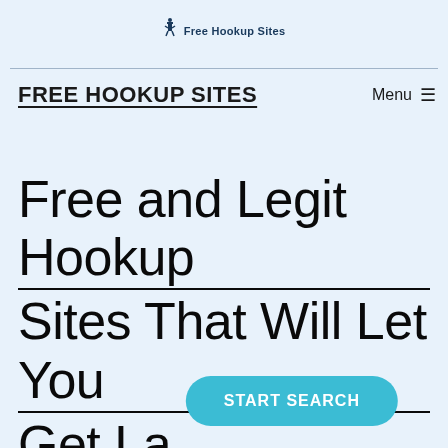Free Hookup Sites
FREE HOOKUP SITES
Menu ≡
Free and Legit Hookup Sites That Will Let You Get La…
START SEARCH